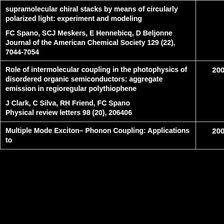| Title / Authors / Journal | Year |
| --- | --- |
| supramolecular chiral stacks by means of circularly polarized light: experiment and modeling
FC Spano, SCJ Meskers, E Hennebicq, D Beljonne
Journal of the American Chemical Society 129 (22), 7044-7054 |  |
| Role of intermolecular coupling in the photophysics of disordered organic semiconductors: aggregate emission in regioregular polythiophene
J Clark, C Silva, RH Friend, FC Spano
Physical review letters 98 (20), 206406 | 2007 |
| Multiple Mode Exciton– Phonon Coupling: Applications to | 2007 |